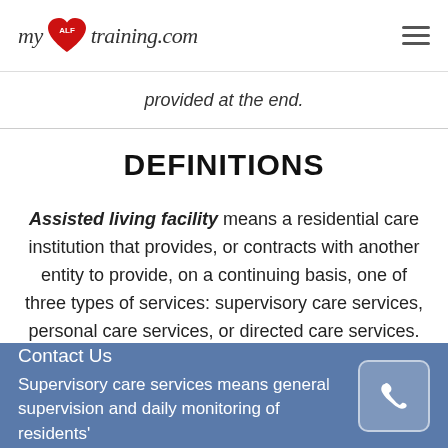myALFtraining.com
provided at the end.
DEFINITIONS
Assisted living facility means a residential care institution that provides, or contracts with another entity to provide, on a continuing basis, one of three types of services: supervisory care services, personal care services, or directed care services.
Supervisory care services means general supervision and daily monitoring of residents'
Contact Us